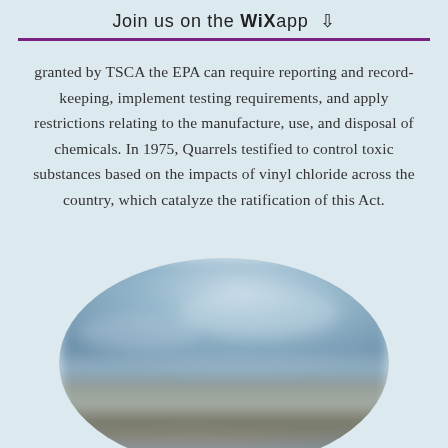Join us on the WiX app ⬇
granted by TSCA the EPA can require reporting and record-keeping, implement testing requirements, and apply restrictions relating to the manufacture, use, and disposal of chemicals. In 1975, Quarrels testified to control toxic substances based on the impacts of vinyl chloride across the country, which catalyze the ratification of this Act.
[Figure (photo): Blurry oval-cropped outdoor landscape photograph showing sky and terrain]